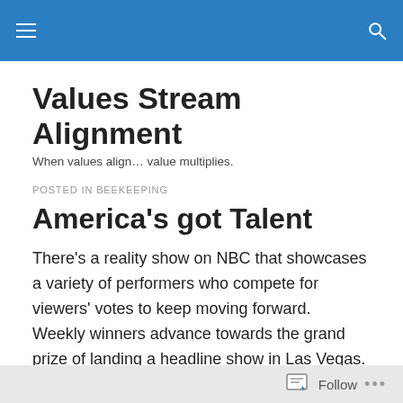Values Stream Alignment [navigation header]
Values Stream Alignment
When values align… value multiplies.
POSTED IN BEEKEEPING
America's got Talent
There's a reality show on NBC that showcases a variety of performers who compete for viewers' votes to keep moving forward.  Weekly winners advance towards the grand prize of landing a headline show in Las Vegas.  I have to admit that mixed in with some really goofy acts